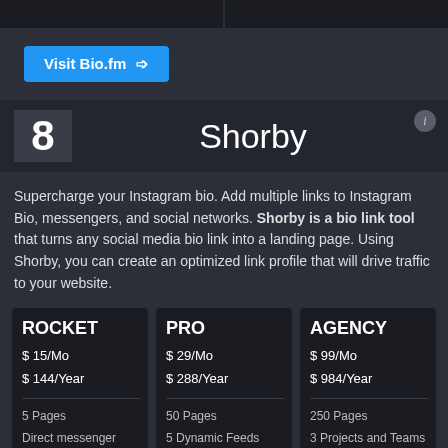[Figure (screenshot): Two dark image placeholders side by side at the top of the page]
Visit Bio.fm →
8   Shorby
Supercharge your Instagram bio. Add multiple links to Instagram Bio, messengers, and social networks. Shorby is a bio link tool that turns any social media bio link into a landing page. Using Shorby, you can create an optimized link profile that will drive traffic to your website.
| ROCKET | PRO | AGENCY |
| --- | --- | --- |
| $ 15/Mo
$ 144/Year | $ 29/Mo
$ 288/Year | $ 99/Mo
$ 984/Year |
| 5 Pages | 50 Pages | 250 Pages |
| Direct messenger buttons | 5 Dynamic Feeds | 3 Projects and Teams |